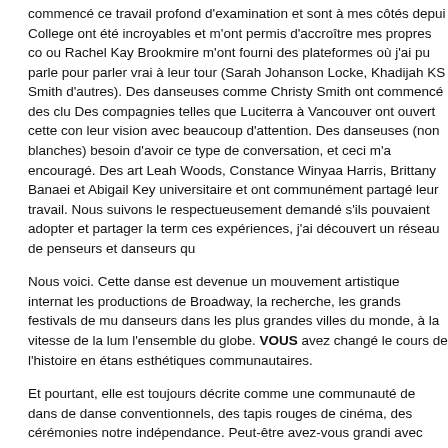commencé ce travail profond d'examination et sont à mes côtés depui College ont été incroyables et m'ont permis d'accroître mes propres co ou Rachel Kay Brookmire m'ont fourni des plateformes où j'ai pu parle pour parler vrai à leur tour (Sarah Johanson Locke, Khadijah KS Smith d'autres). Des danseuses comme Christy Smith ont commencé des clu Des compagnies telles que Luciterra à Vancouver ont ouvert cette con leur vision avec beaucoup d'attention. Des danseuses (non blanches) besoin d'avoir ce type de conversation, et ceci m'a encouragé. Des art Leah Woods, Constance Winyaa Harris, Brittany Banaei et Abigail Key universitaire et ont communément partagé leur travail. Nous suivons le respectueusement demandé s'ils pouvaient adopter et partager la term ces expériences, j'ai découvert un réseau de penseurs et danseurs qu
Nous voici. Cette danse est devenue un mouvement artistique internat les productions de Broadway, la recherche, les grands festivals de mu danseurs dans les plus grandes villes du monde, à la vitesse de la lum l'ensemble du globe. VOUS avez changé le cours de l'histoire en étans esthétiques communautaires.
Et pourtant, elle est toujours décrite comme une communauté de dans de danse conventionnels, des tapis rouges de cinéma, des cérémonies notre indépendance. Peut-être avez-vous grandi avec une résilience p